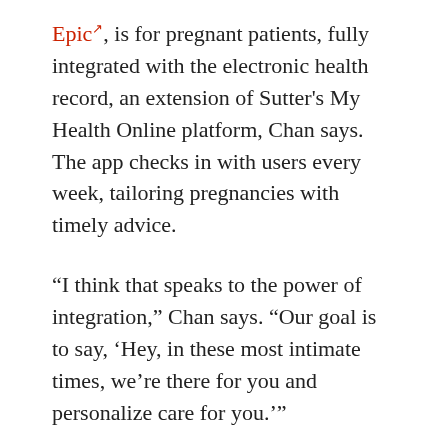Epic, is for pregnant patients, fully integrated with the electronic health record, an extension of Sutter's My Health Online platform, Chan says. The app checks in with users every week, tailoring pregnancies with timely advice.
“I think that speaks to the power of integration,” Chan says. “Our goal is to say, ‘Hey, in these most intimate times, we’re there for you and personalize care for you.’”
There are certain things the health system can’t do on its own. In these